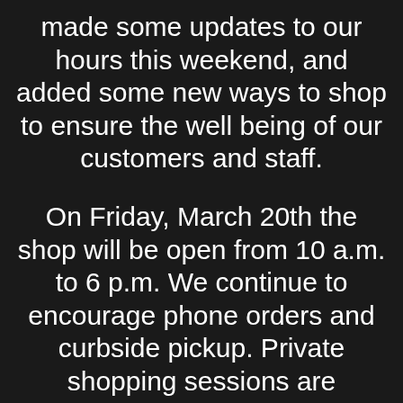made some updates to our hours this weekend, and added some new ways to shop to ensure the well being of our customers and staff.
On Friday, March 20th the shop will be open from 10 a.m. to 6 p.m. We continue to encourage phone orders and curbside pickup. Private shopping sessions are available, and we will gladly ship product as well.
WE WILL BE CLOSED on Saturday, March 21st and Sunday, March 22nd